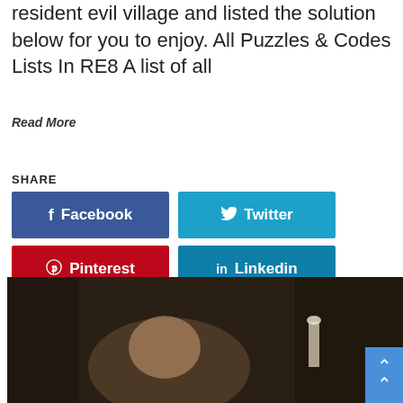resident evil village and listed the solution below for you to enjoy. All Puzzles & Codes Lists In RE8 A list of all
Read More
SHARE
[Figure (infographic): Social share buttons: Facebook (dark blue), Twitter (light blue), Pinterest (red), Linkedin (teal blue)]
[Figure (photo): A dark screenshot from the video game Resident Evil Village (RE8) showing a large character in dim surroundings with a scroll-to-top button overlay in the bottom right corner.]